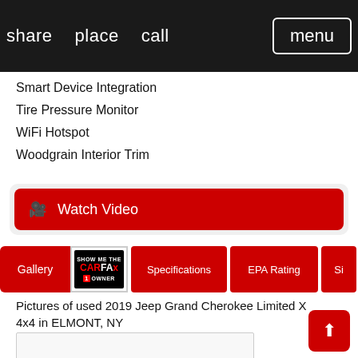share   place   call   menu
Smart Device Integration
Tire Pressure Monitor
WiFi Hotspot
Woodgrain Interior Trim
Watch Video
[Figure (screenshot): Tab bar with Gallery (active), Carfax 1 Owner badge, Specifications, EPA Rating, and partial Si tab buttons]
Pictures of used 2019 Jeep Grand Cherokee Limited X 4x4 in ELMONT, NY
[Figure (photo): Vehicle photo placeholder (partially visible at bottom)]